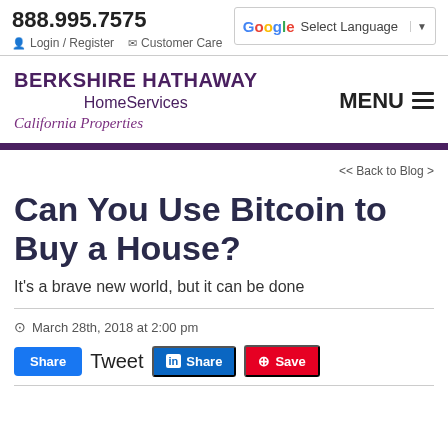888.995.7575  Login / Register  Customer Care  Select Language
[Figure (logo): Berkshire Hathaway HomeServices California Properties logo]
MENU
<< Back to Blog >
Can You Use Bitcoin to Buy a House?
It's a brave new world, but it can be done
March 28th, 2018 at 2:00 pm
Share  Tweet  Share  Save